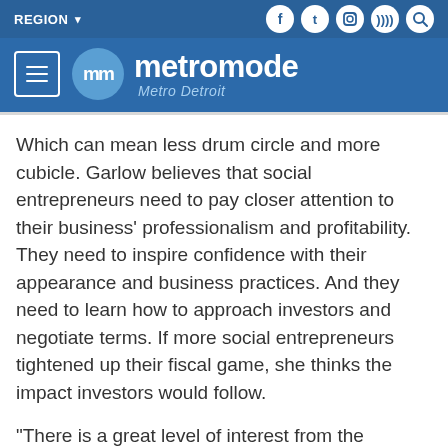REGION ▾ [social icons: facebook, twitter, instagram, rss, search]
[Figure (logo): Metromode Metro Detroit logo with hamburger menu icon on blue background]
Which can mean less drum circle and more cubicle. Garlow believes that social entrepreneurs need to pay closer attention to their business' professionalism and profitability. They need to inspire confidence with their appearance and business practices. And they need to learn how to approach investors and negotiate terms. If more social entrepreneurs tightened up their fiscal game, she thinks the impact investors would follow.
"There is a great level of interest from the investment community," Garlow says. "The challenge is bridging that gap and hello..."